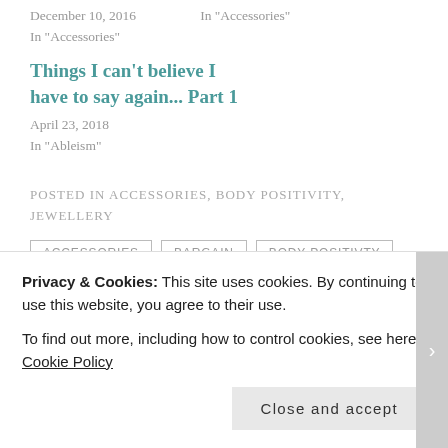December 10, 2016
In "Accessories"
In "Accessories"
Things I can't believe I have to say again... Part 1
April 23, 2018
In "Ableism"
POSTED IN ACCESSORIES, BODY POSITIVITY, JEWELLERY
ACCESSORIES
BARGAIN
BODY POSITIVTY
BRACELET
BROOCH
JEWELLERY
LOVE YOUR BODY
NECKLACE
REELY WALLY
Privacy & Cookies: This site uses cookies. By continuing to use this website, you agree to their use.
To find out more, including how to control cookies, see here: Cookie Policy
Close and accept